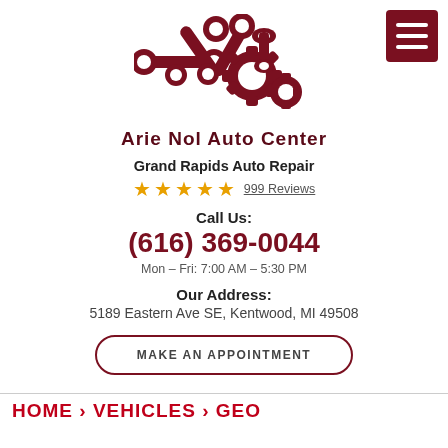[Figure (logo): Arie Nol Auto Center logo showing wrenches, gears, and engine parts in dark red/maroon color]
Arie Nol Auto Center
Grand Rapids Auto Repair
★★★★★ 999 Reviews
Call Us:
(616) 369-0044
Mon – Fri: 7:00 AM – 5:30 PM
Our Address:
5189 Eastern Ave SE, Kentwood, MI 49508
MAKE AN APPOINTMENT
HOME > VEHICLES > GEO